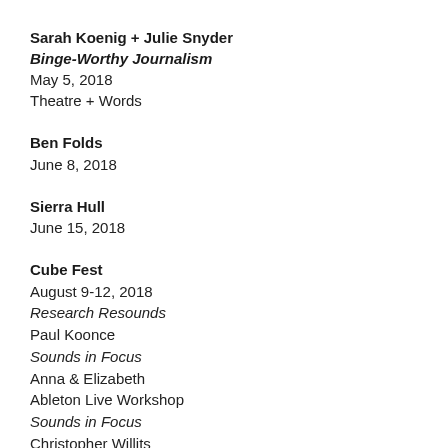Sarah Koenig + Julie Snyder
Binge-Worthy Journalism
May 5, 2018
Theatre + Words
Ben Folds
June 8, 2018
Sierra Hull
June 15, 2018
Cube Fest
August 9-12, 2018
Research Resounds
Paul Koonce
Sounds in Focus
Anna & Elizabeth
Ableton Live Workshop
Sounds in Focus
Christopher Willits